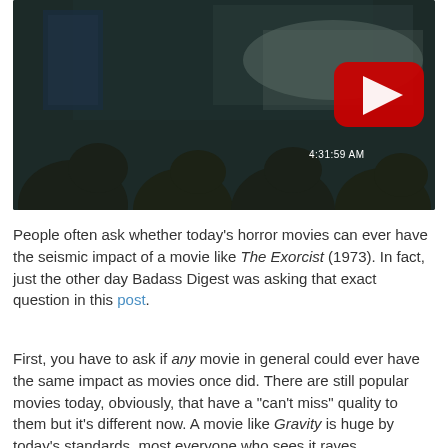[Figure (screenshot): YouTube video thumbnail showing a dark bedroom scene with a YouTube play button overlay and timestamp '4:31:59 AM' visible. Silhouettes of people watching are visible at the bottom of the frame.]
People often ask whether today's horror movies can ever have the seismic impact of a movie like The Exorcist (1973). In fact, just the other day Badass Digest was asking that exact question in this post.
First, you have to ask if any movie in general could ever have the same impact as movies once did. There are still popular movies today, obviously, that have a "can't miss" quality to them but it's different now. A movie like Gravity is huge by today's standards, most everyone who sees it raves